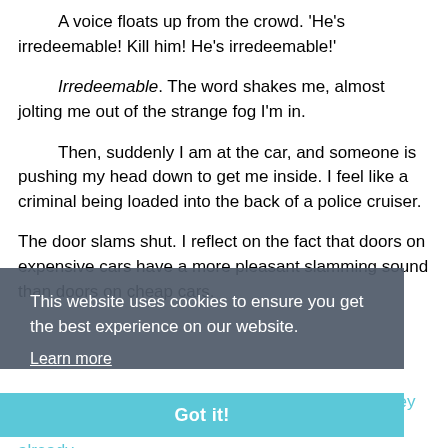A voice floats up from the crowd. 'He's irredeemable! Kill him! He's irredeemable!'
Irredeemable. The word shakes me, almost jolting me out of the strange fog I'm in.
Then, suddenly I am at the car, and someone is pushing my head down to get me inside. I feel like a criminal being loaded into the back of a police cruiser.
The door slams shut. I reflect on the fact that doors on expensive cars have a more pleasant slamming sound than doors on cheap cars.
Out the window, I can see people milling about. They can't see me through the tinted glass, and they're already